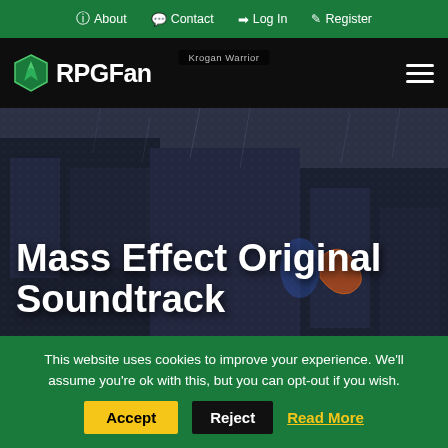About | Contact | Log In | Register
[Figure (screenshot): RPGFan website header with logo, Krogan Warrior game screenshot background, and hamburger menu]
Mass Effect Original Soundtrack
This website uses cookies to improve your experience. We'll assume you're ok with this, but you can opt-out if you wish.
Accept | Reject | Read More